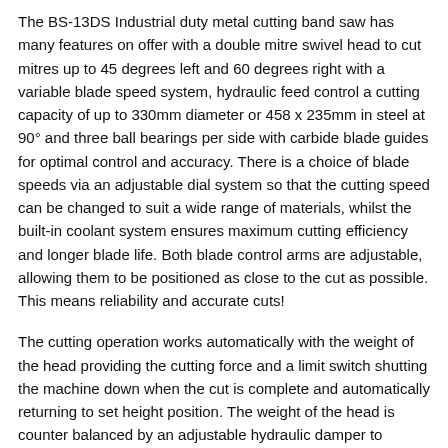The BS-13DS Industrial duty metal cutting band saw has many features on offer with a double mitre swivel head to cut mitres up to 45 degrees left and 60 degrees right with a variable blade speed system, hydraulic feed control a cutting capacity of up to 330mm diameter or 458 x 235mm in steel at 90° and three ball bearings per side with carbide blade guides for optimal control and accuracy. There is a choice of blade speeds via an adjustable dial system so that the cutting speed can be changed to suit a wide range of materials, whilst the built-in coolant system ensures maximum cutting efficiency and longer blade life. Both blade control arms are adjustable, allowing them to be positioned as close to the cut as possible. This means reliability and accurate cuts!
The cutting operation works automatically with the weight of the head providing the cutting force and a limit switch shutting the machine down when the cut is complete and automatically returning to set height position. The weight of the head is counter balanced by an adjustable hydraulic damper to control the feed rate, an excellent machine choice for maintenance shops, steel fabrications, and industrial engineering workshops. If you're looking for this size range of machine, you'll have a